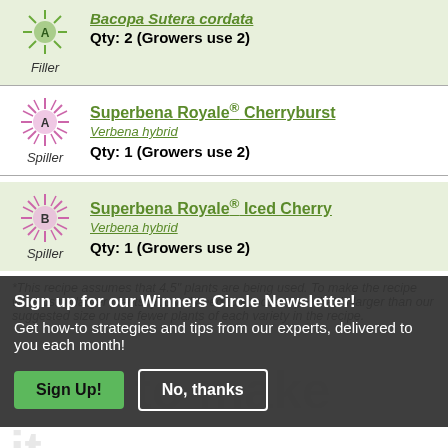Filler — Bacopa Sutera cordata — Qty: 2 (Growers use 2)
Spiller — Superbena Royale® Cherryburst — Verbena hybrid — Qty: 1 (Growers use 2)
Spiller — Superbena Royale® Iced Cherry — Verbena hybrid — Qty: 1 (Growers use 2)
*This recipe assumes that 4.5" plants are being used. To make the recipe work using larger plants, you will need to choose a pot that is larger than our suggested size or use fewer plants of each variety in the recipe.
Sign up for our Winners Circle Newsletter! Get how-to strategies and tips from our experts, delivered to you each month!